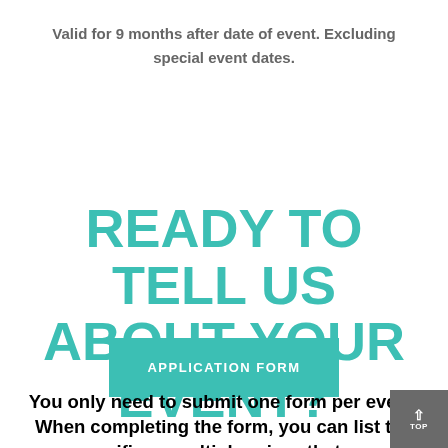Valid for 9 months after date of event. Excluding special event dates.
READY TO TELL US ABOUT YOUR EVENT?
APPLICATION FORM
You only need to submit one form per event. When completing the form, you can list the specific or multiple prizes that are